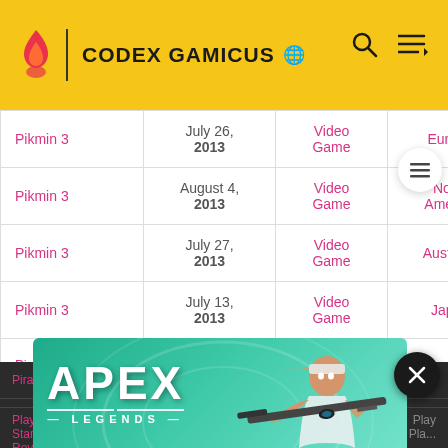CODEX GAMICUS
| Game | Date | Type | Region |
| --- | --- | --- | --- |
| Pikmin 3 | July 26, 2013 | Video Game | Europe |
| Pikmin 3 | August 4, 2013 | Video Game | North America |
| Pikmin 3 | July 27, 2013 | Video Game | Australia |
| Pikmin 3 | July 13, 2013 | Video Game | Japan |
| Pinball Dreams | April 23, 2013 | Video Game | International |
| Pirate ... |  |  | iOS |
| PlayStation Stars B... Royale |  |  | Play Pla... |
[Figure (advertisement): Apex Legends promotional banner with character holding sniper rifle on teal background]